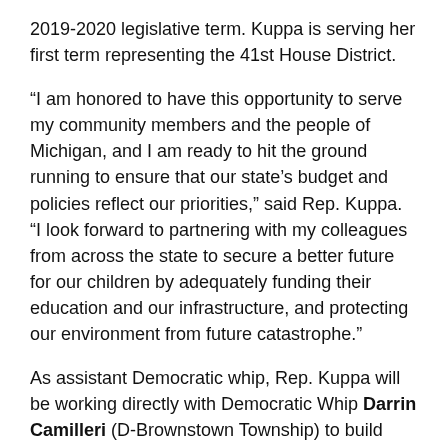2019-2020 legislative term. Kuppa is serving her first term representing the 41st House District.
“I am honored to have this opportunity to serve my community members and the people of Michigan, and I am ready to hit the ground running to ensure that our state’s budget and policies reflect our priorities,” said Rep. Kuppa. “I look forward to partnering with my colleagues from across the state to secure a better future for our children by adequately funding their education and our infrastructure, and protecting our environment from future catastrophe.”
As assistant Democratic whip, Rep. Kuppa will be working directly with Democratic Whip Darrin Camilleri (D-Brownstown Township) to build support for House Democrats’ legislative priorities during the 2019-20 session. Rep. Kuppa came to the U.S. from India at the age of four and grew up in America before returning to